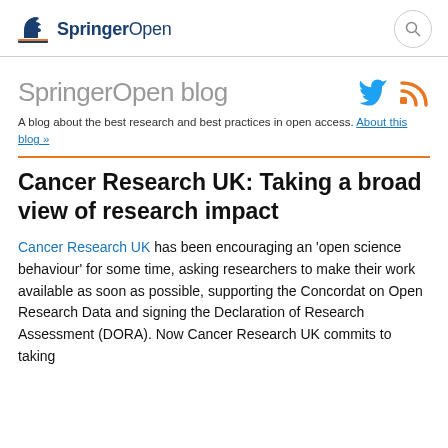SpringerOpen
SpringerOpen blog
A blog about the best research and best practices in open access. About this blog »
Cancer Research UK: Taking a broad view of research impact
Cancer Research UK has been encouraging an 'open science behaviour' for some time, asking researchers to make their work available as soon as possible, supporting the Concordat on Open Research Data and signing the Declaration of Research Assessment (DORA). Now Cancer Research UK commits to taking